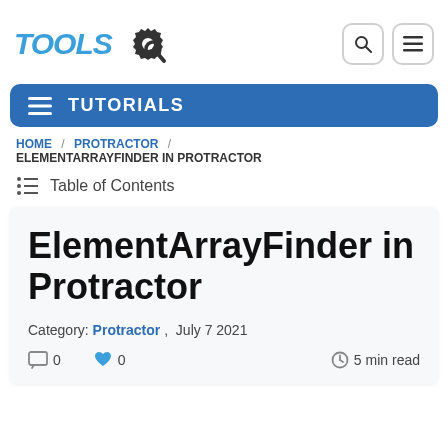[Figure (logo): TOOLS logo with gear/magnifier icon in blue and dark gray]
TUTORIALS
HOME / PROTRACTOR / ELEMENTARRAYFINDER IN PROTRACTOR
Table of Contents
ElementArrayFinder in Protractor
Category: Protractor , July 7 2021
0   0   5 min read